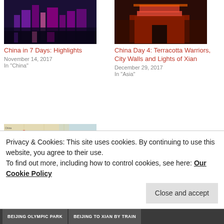[Figure (photo): Night cityscape of Shanghai with purple-lit skyscrapers and waterfront reflection]
[Figure (photo): Night photo of Terracotta Warriors or Xi'an city gate illuminated in red and gold]
China in 7 Days: Highlights
November 14, 2017
In "China"
China Day 4: Terracotta Warriors, City Walls and Lights of Xian
December 29, 2017
In "Asia"
[Figure (map): Google map showing a route through China with a blue path connecting cities]
How to Plan Your First
Privacy & Cookies: This site uses cookies. By continuing to use this website, you agree to their use.
To find out more, including how to control cookies, see here: Our Cookie Policy
Close and accept
BEIJING OLYMPIC PARK
BEIJING TO XIAN BY TRAIN